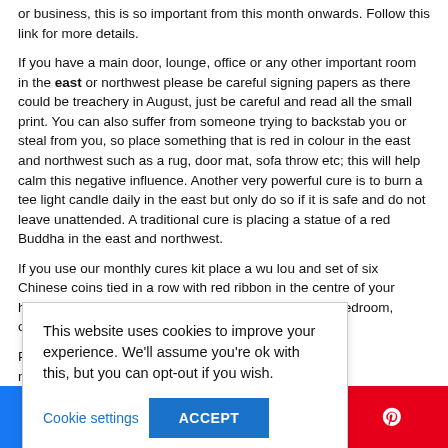or business, this is so important from this month onwards. Follow this link for more details.
If you have a main door, lounge, office or any other important room in the east or northwest please be careful signing papers as there could be treachery in August, just be careful and read all the small print. You can also suffer from someone trying to backstab you or steal from you, so place something that is red in colour in the east and northwest such as a rug, door mat, sofa throw etc; this will help calm this negative influence. Another very powerful cure is to burn a tee light candle daily in the east but only do so if it is safe and do not leave unattended. A traditional cure is placing a statue of a red Buddha in the east and northwest.
If you use our monthly cures kit place a wu lou and set of six Chinese coins tied in a row with red ribbon in the centre of your home especially if you have an important room like a bedroom, office, main door etc.
P...07 again and you must m...ecially this month. P...(d or black) especially i...m or office in the m...ater) in this room, the w...d daily if you live in a
This website uses cookies to improve your experience. We'll assume you're ok with this, but you can opt-out if you wish.
Cookie settings  ACCEPT
167 (Facebook share count)